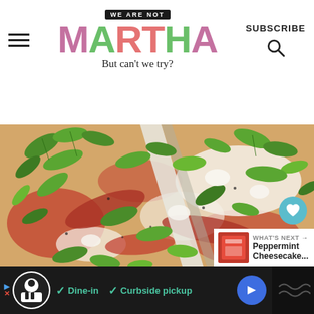WE ARE NOT MARTHA — But can't we try?
[Figure (photo): Close-up overhead photo of pizza slices topped with fresh arugula, prosciutto/salami, ricotta/mozzarella cheese, and tomato sauce on white crust. Multiple pizza slices visible with a server/spatula between them.]
WHAT'S NEXT → Peppermint Cheesecake...
[Figure (screenshot): Advertisement footer bar: dark background with chef logo, checkmarks for Dine-in and Curbside pickup, blue navigation arrow icon.]